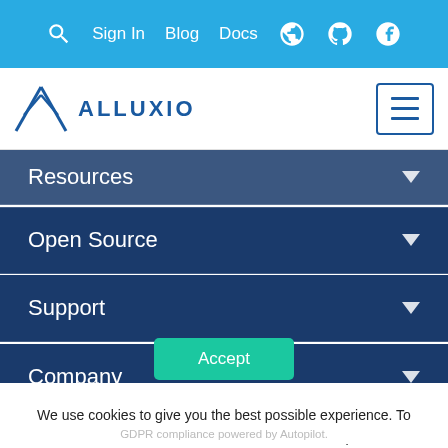Sign In  Blog  Docs
[Figure (logo): Alluxio logo with mountain/triangle icon and text ALLUXIO in blue]
Resources
Open Source
Support
Company
[Figure (infographic): Social media icons row: newspaper, email, github, twitter, slack, linkedin]
We use cookies to give you the best possible experience. To consent for cookies to be used, click accept.
Accept
GDPR compliance powered by Autopilot.